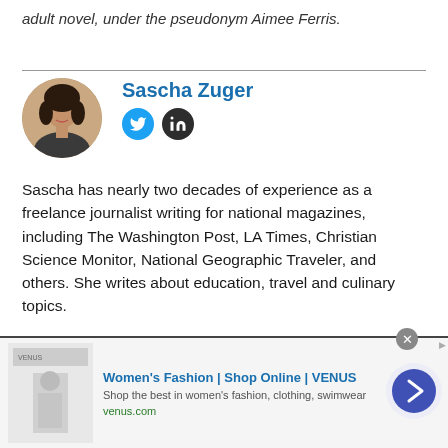adult novel, under the pseudonym Aimee Ferris.
Sascha Zuger
[Figure (photo): Circular portrait photo of Sascha Zuger with Twitter and LinkedIn social icons below]
Sascha has nearly two decades of experience as a freelance journalist writing for national magazines, including The Washington Post, LA Times, Christian Science Monitor, National Geographic Traveler, and others. She writes about education, travel and culinary topics.
[Figure (infographic): Advertisement banner for Women's Fashion | Shop Online | VENUS - venus.com]